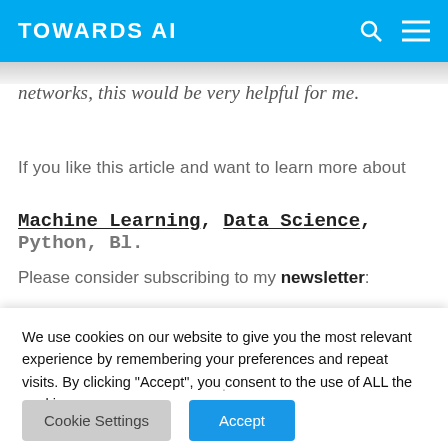TOWARDS AI
networks, this would be very helpful for me.
If you like this article and want to learn more about
Machine Learning, Data Science, Python, BI.
Please consider subscribing to my newsletter:
We use cookies on our website to give you the most relevant experience by remembering your preferences and repeat visits. By clicking “Accept”, you consent to the use of ALL the cookies.
Cookie Settings
Accept